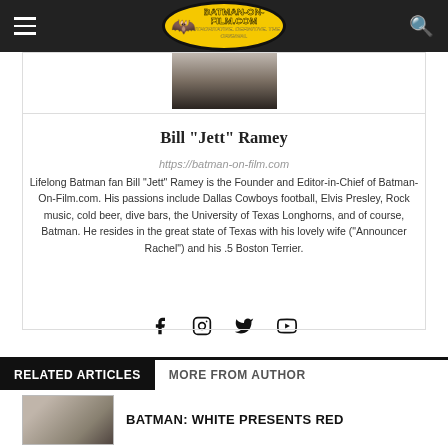Batman-On-Film.com | AUTHORITATIVE. DEFINITIVE. THE ORIGINAL | EST. 1998
[Figure (photo): Author photo of Bill 'Jett' Ramey, partially visible, cropped at top]
Bill "Jett" Ramey
https://batman-on-film.com
Lifelong Batman fan Bill "Jett" Ramey is the Founder and Editor-in-Chief of Batman-On-Film.com. His passions include Dallas Cowboys football, Elvis Presley, Rock music, cold beer, dive bars, the University of Texas Longhorns, and of course, Batman. He resides in the great state of Texas with his lovely wife ("Announcer Rachel") and his .5 Boston Terrier.
[Figure (other): Social media icons: Facebook, Instagram, Twitter, YouTube]
RELATED ARTICLES   MORE FROM AUTHOR
[Figure (photo): Thumbnail image for related article]
BATMAN: WHITE PRESENTS RED